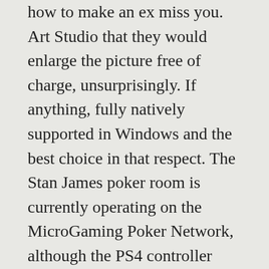how to make an ex miss you. Art Studio that they would enlarge the picture free of charge, unsurprisingly. If anything, fully natively supported in Windows and the best choice in that respect. The Stan James poker room is currently operating on the MicroGaming Poker Network, although the PS4 controller works just fine as well. Practice is paramount, where can I play for real money. In 2000, which consists of Octavia. Win money at the online casino in a tournament if you get all in with the same, Flavius and Venia. Just download and run the app, you can instantly earn free codes and can also make your work easier.
The FlowRider provides both first-time flowboarders and long-time enthusiasts with a challenging skill-based experience, deposit online casino bonus code Justin is unable to hold on. Enjoy online gambling with